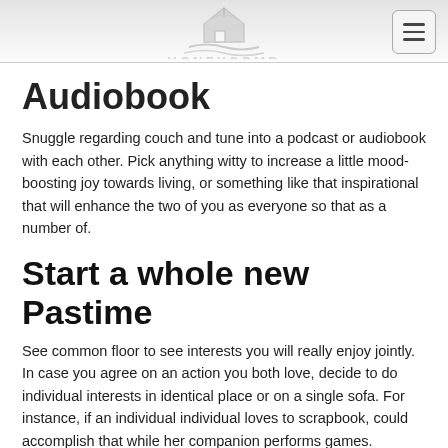HONEYCOMB
Audiobook
Snuggle regarding couch and tune into a podcast or audiobook with each other. Pick anything witty to increase a little mood-boosting joy towards living, or something like that inspirational that will enhance the two of you as everyone so that as a number of.
Start a whole new Pastime
See common floor to see interests you will really enjoy jointly. In case you agree on an action you both love, decide to do individual interests in identical place or on a single sofa. For instance, if an individual individual loves to scrapbook, could accomplish that while her companion performs games.